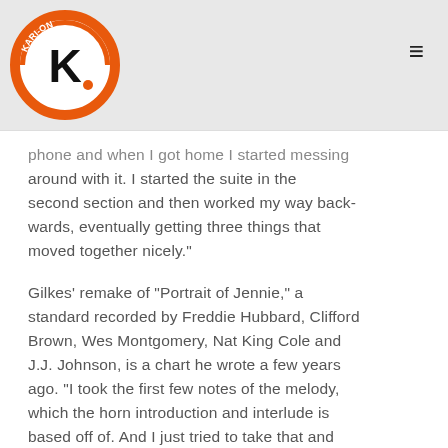Kari-On Productions logo and navigation
phone and when I got home I started messing around with it. I started the suite in the second section and then worked my way backwards, eventually getting three things that moved together nicely."
Gilkes’ remake of “Portrait of Jennie,” a standard recorded by Freddie Hubbard, Clifford Brown, Wes Montgomery, Nat King Cole and J.J. Johnson, is a chart he wrote a few years ago. “I took the first few notes of the melody, which the horn introduction and interlude is based off of. And I just tried to take that and develop it through the woodwinds in the beginning and then the trombones later on. I love Aaron Copland, who uses a lot of that